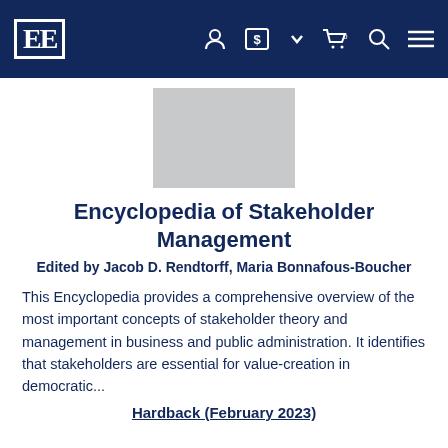EE [logo] navigation bar with icons
[Figure (illustration): Book cover placeholder — light grey rectangle]
Encyclopedia of Stakeholder Management
Edited by Jacob D. Rendtorff, Maria Bonnafous-Boucher
This Encyclopedia provides a comprehensive overview of the most important concepts of stakeholder theory and management in business and public administration. It identifies that stakeholders are essential for value-creation in democratic...
Hardback (February 2023)